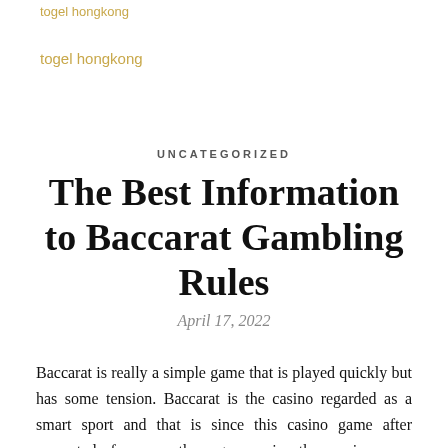togel hongkong
togel hongkong
UNCATEGORIZED
The Best Information to Baccarat Gambling Rules
April 17, 2022
Baccarat is really a simple game that is played quickly but has some tension. Baccarat is the casino regarded as a smart sport and that is since this casino game after separated from another games in the casino was performed mainly by people from top of the class. Now this is no longer so and it is unquestionably not